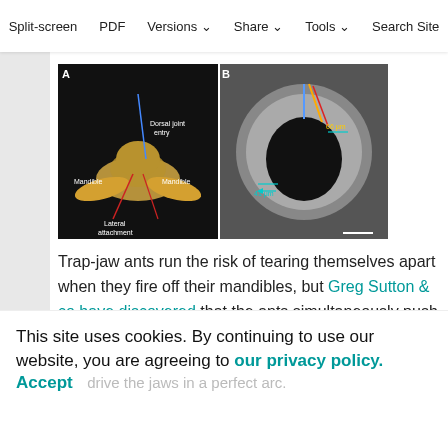Split-screen  PDF  Versions  Share  Tools  Search Site
Trap-jaw ants coordinate tendon and exoskeleton for perfect mandible arc
[Figure (photo): Two-panel scientific figure showing trap-jaw ant anatomy. Panel A shows a macro photograph of ant head with labels: 'Dorsal joint entry', 'Mandible' (left and right), 'Lateral attachment'. Panel B shows a close-up scanning electron microscope image of the ant mandible joint with measurement annotations: '66 μm' and '41 μm', with colored lines (blue, orange, red) indicating measurement directions.]
Trap-jaw ants run the risk of tearing themselves apart when they fire off their mandibles, but Greg Sutton & co have discovered that the ants simultaneously push and pull the
This site uses cookies. By continuing to use our website, you are agreeing to our privacy policy.
Accept
drive the jaws in a perfect arc.